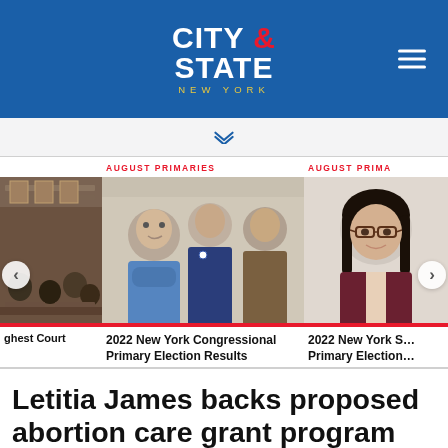CITY & STATE NEW YORK
[Figure (screenshot): Carousel of news articles with images: partial court room image, 2022 New York Congressional Primary Election Results, 2022 New York State Primary Election]
AUGUST PRIMARIES
2022 New York Congressional Primary Election Results
AUGUST PRIMARIES
2022 New York S... Primary Election...
Letitia James backs proposed abortion care grant program